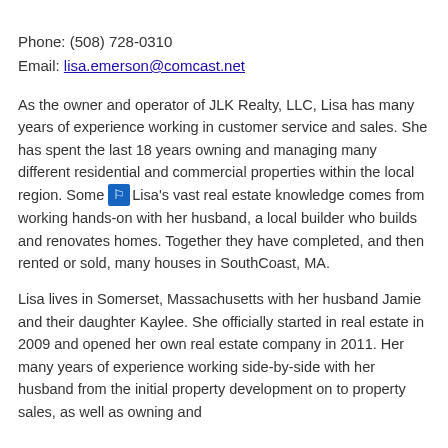Phone: (508) 728-0310
Email: lisa.emerson@comcast.net
As the owner and operator of JLK Realty, LLC, Lisa has many years of experience working in customer service and sales. She has spent the last 18 years owning and managing many different residential and commercial properties within the local region. Some Lisa's vast real estate knowledge comes from working hands-on with her husband, a local builder who builds and renovates homes. Together they have completed, and then rented or sold, many houses in SouthCoast, MA.
Lisa lives in Somerset, Massachusetts with her husband Jamie and their daughter Kaylee. She officially started in real estate in 2009 and opened her own real estate company in 2011. Her many years of experience working side-by-side with her husband from the initial property development on to property sales, as well as owning and